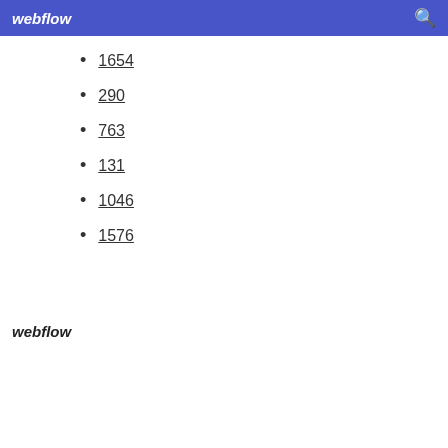webflow
1654
290
763
131
1046
1576
webflow